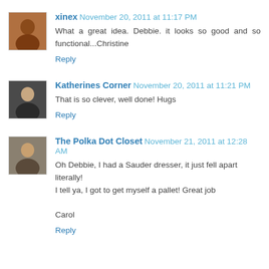xinex November 20, 2011 at 11:17 PM — What a great idea. Debbie. it looks so good and so functional...Christine — Reply
Katherines Corner November 20, 2011 at 11:21 PM — That is so clever, well done! Hugs — Reply
The Polka Dot Closet November 21, 2011 at 12:28 AM — Oh Debbie, I had a Sauder dresser, it just fell apart literally! I tell ya, I got to get myself a pallet! Great job — Carol — Reply